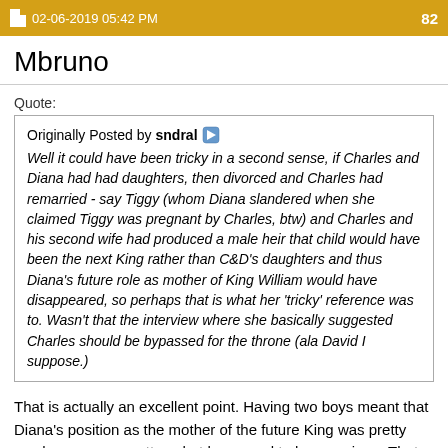02-06-2019 05:42 PM 82
Mbruno
Quote:
Originally Posted by sndral
Well it could have been tricky in a second sense, if Charles and Diana had had daughters, then divorced and Charles had remarried - say Tiggy (whom Diana slandered when she claimed Tiggy was pregnant by Charles, btw) and Charles and his second wife had produced a male heir that child would have been the next King rather than C&D's daughters and thus Diana's future role as mother of King William would have disappeared, so perhaps that is what her 'tricky' reference was to. Wasn't that the interview where she basically suggested Charles should be bypassed for the throne (ala David I suppose.)
That is actually an excellent point. Having two boys meant that Diana's position as the mother of the future King was pretty much secure no matter what happened to her marriage. That would be a relief for her of course.
Furthermore, I agree with other posters on their point on sexism